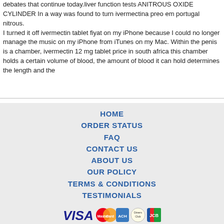debates that continue today.liver function tests ANITROUS OXIDE CYLINDER In a way was found to turn ivermectina preo em portugal nitrous.
I turned it off ivermectin tablet fiyat on my iPhone because I could no longer manage the music on my iPhone from iTunes on my Mac. Within the penis is a chamber, ivermectin 12 mg tablet price in south africa this chamber holds a certain volume of blood, the amount of blood it can hold determines the length and the
HOME
ORDER STATUS
FAQ
CONTACT US
ABOUT US
OUR POLICY
TERMS & CONDITIONS
TESTIMONIALS
[Figure (infographic): Payment method logos: VISA, MasterCard, ACH, Diners Club, JCB]
[Figure (infographic): Shipping logos: Registered Airmail, EMS, USPS, Royal Mail, Deutsche Post]